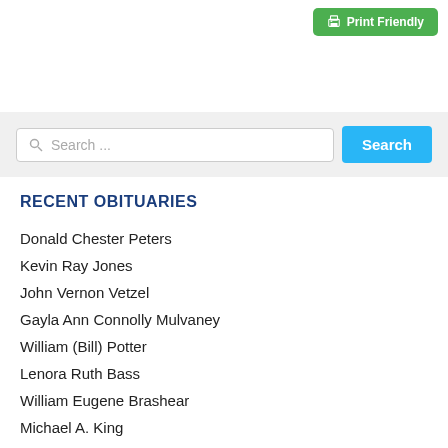[Figure (screenshot): Print Friendly button in green at top right]
RECENT OBITUARIES
Donald Chester Peters
Kevin Ray Jones
John Vernon Vetzel
Gayla Ann Connolly Mulvaney
William (Bill) Potter
Lenora Ruth Bass
William Eugene Brashear
Michael A. King
Harold H. Smith, Jr